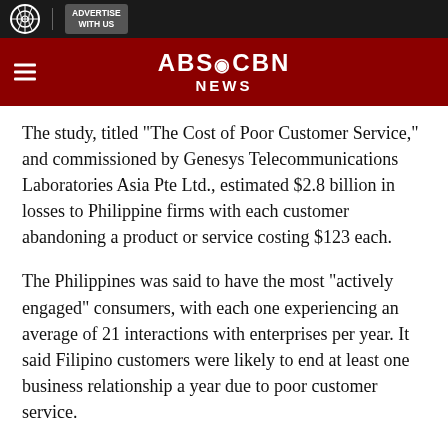ABS-CBN NEWS
The study, titled "The Cost of Poor Customer Service," and commissioned by Genesys Telecommunications Laboratories Asia Pte Ltd., estimated $2.8 billion in losses to Philippine firms with each customer abandoning a product or service costing $123 each.
The Philippines was said to have the most "actively engaged" consumers, with each one experiencing an average of 21 interactions with enterprises per year. It said Filipino customers were likely to end at least one business relationship a year due to poor customer service.
In contrast, Singaporeans will end more than three business relationships, and Malaysians and Thais about two. Customers in Malaysia are the second most